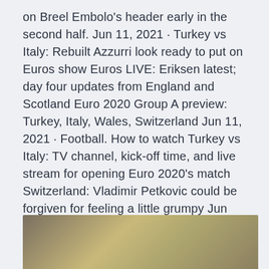on Breel Embolo's header early in the second half. Jun 11, 2021 · Turkey vs Italy: Rebuilt Azzurri look ready to put on Euros show Euros LIVE: Eriksen latest; day four updates from England and Scotland Euro 2020 Group A preview: Turkey, Italy, Wales, Switzerland Jun 11, 2021 · Football. How to watch Turkey vs Italy: TV channel, kick-off time, and live stream for opening Euro 2020's match Switzerland: Vladimir Petkovic could be forgiven for feeling a little grumpy Jun 10, 2021 · turkey 0-2 italy 69. After a season of football often played at a slow pace inside empty stadiums, the intensity with which tonight has unfolded has been a real surprise.
[Figure (photo): Partial image visible at the bottom of the page, showing a blurred background with golden/olive tones, likely a sports or outdoor photo cropped at the top.]